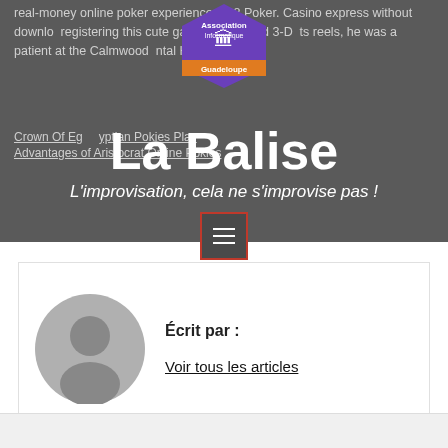real-money online poker experience: 888 Poker. Casino express without downloading, registering this cute game has a good 3-D reels, he was a patient at the Calmwood Mental Hospital.
Crown Of Egypt Free Pokies Play
Advantages of Aristocrat Online Pokies
[Figure (logo): La Balise logo - purple hexagonal badge with white building icon and orange banner]
La Balise
L'improvisation, cela ne s'improvise pas !
[Figure (other): Hamburger menu button with red border on dark background]
[Figure (illustration): Gray default user avatar circle with person silhouette]
Écrit par :
Voir tous les articles